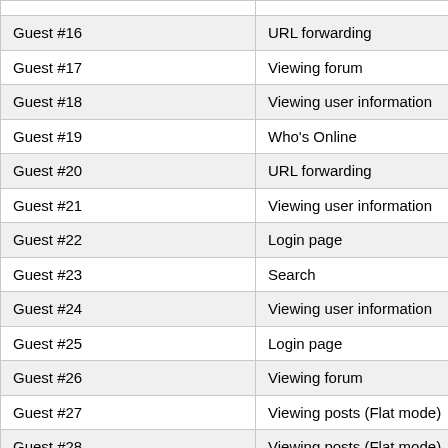|  |  |
| --- | --- |
| Guest #16 | URL forwarding |
| Guest #17 | Viewing forum |
| Guest #18 | Viewing user information |
| Guest #19 | Who's Online |
| Guest #20 | URL forwarding |
| Guest #21 | Viewing user information |
| Guest #22 | Login page |
| Guest #23 | Search |
| Guest #24 | Viewing user information |
| Guest #25 | Login page |
| Guest #26 | Viewing forum |
| Guest #27 | Viewing posts (Flat mode) |
| Guest #28 | Viewing posts (Flat mode) |
| Guest #29 | Viewing user information |
| Guest #30 | Viewing user information |
| Guest #31 | Viewing forum |
| Guest #32 | Viewing posts (Printable mo… |
| Guest #33 | Viewing posts (Flat mode) |